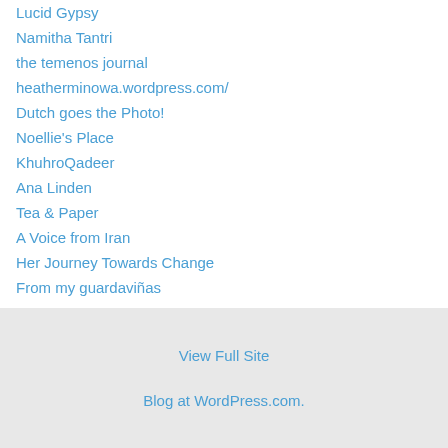Lucid Gypsy
Namitha Tantri
the temenos journal
heatherminowa.wordpress.com/
Dutch goes the Photo!
Noellie's Place
KhuhroQadeer
Ana Linden
Tea & Paper
A Voice from Iran
Her Journey Towards Change
From my guardaviñas
View Full Site
Blog at WordPress.com.